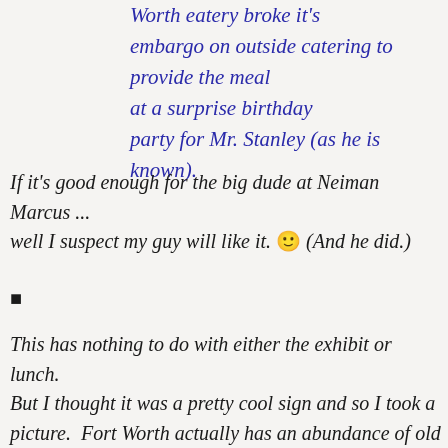Worth eatery broke it's embargo on outside catering to provide the meal at a surprise birthday party for Mr. Stanley (as he is known).
If it's good enough for the big dude at Neiman Marcus ... well I suspect my guy will like it. 🙂 (And he did.)
■
This has nothing to do with either the exhibit or lunch. But I thought it was a pretty cool sign and so I took a picture. Fort Worth actually has an abundance of old neon signs that would be a blast to photograph on another road